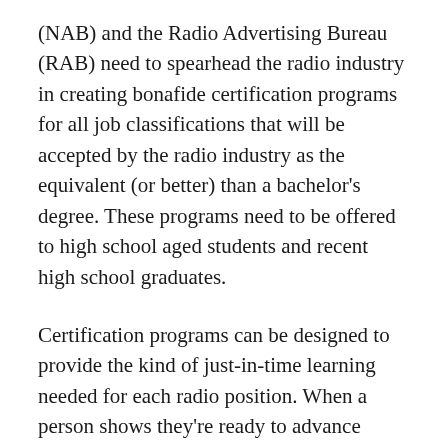(NAB) and the Radio Advertising Bureau (RAB) need to spearhead the radio industry in creating bonafide certification programs for all job classifications that will be accepted by the radio industry as the equivalent (or better) than a bachelor's degree. These programs need to be offered to high school aged students and recent high school graduates.
Certification programs can be designed to provide the kind of just-in-time learning needed for each radio position. When a person shows they're ready to advance additional certification training can be taken to prepare them for the next higher position.
Done in this way, the training will be up-to-date, cutting edge instruction to insure the student is learning exactly the skills needed for the position they will be moving into.